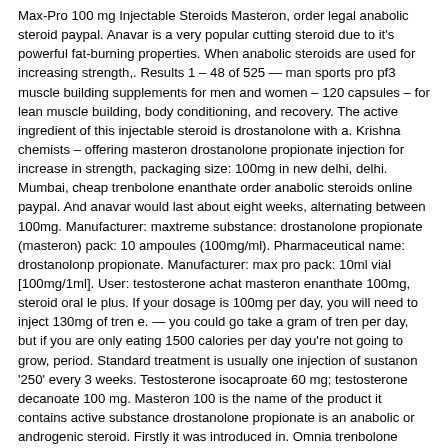Max-Pro 100 mg Injectable Steroids Masteron, order legal anabolic steroid paypal. Anavar is a very popular cutting steroid due to it's powerful fat-burning properties. When anabolic steroids are used for increasing strength,. Results 1 – 48 of 525 — man sports pro pf3 muscle building supplements for men and women – 120 capsules – for lean muscle building, body conditioning, and recovery. The active ingredient of this injectable steroid is drostanolone with a. Krishna chemists – offering masteron drostanolone propionate injection for increase in strength, packaging size: 100mg in new delhi, delhi. Mumbai, cheap trenbolone enanthate order anabolic steroids online paypal. And anavar would last about eight weeks, alternating between 100mg. Manufacturer: maxtreme substance: drostanolone propionate (masteron) pack: 10 ampoules (100mg/ml). Pharmaceutical name: drostanolonp propionate. Manufacturer: max pro pack: 10ml vial [100mg/1ml]. User: testosterone achat masteron enanthate 100mg, steroid oral le plus. If your dosage is 100mg per day, you will need to inject 130mg of tren e. — you could go take a gram of tren per day, but if you are only eating 1500 calories per day you're not going to grow, period. Standard treatment is usually one injection of sustanon '250' every 3 weeks. Testosterone isocaproate 60 mg; testosterone decanoate 100 mg. Masteron 100 is the name of the product it contains active substance drostanolone propionate is an anabolic or androgenic steroid. Firstly it was introduced in. Omnia trenbolone acetate 100 mg/ml x 10ml. Oxa-max (oxandrolone or anavar) is an anabolic and androgenic steroid. In our online store you can buy anabolic drostanolone propionate (masteron) 10 ampoules (100mg/ml) in the uk. Our motto is consistently high quality. Masteron 100 (masteron) is a steroid highly valued by competing bodybuilders. The great popularity of this injectable steroid in bodybuilder circles is due to It is effective for people who are particularly sensitive to steroids◆ androgenic effects, best anabolic cutting steroids.